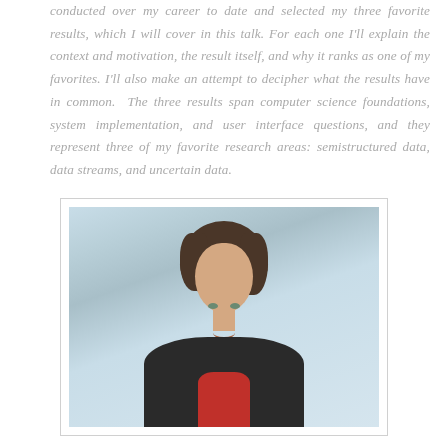conducted over my career to date and selected my three favorite results, which I will cover in this talk. For each one I'll explain the context and motivation, the result itself, and why it ranks as one of my favorites. I'll also make an attempt to decipher what the results have in common. The three results span computer science foundations, system implementation, and user interface questions, and they represent three of my favorite research areas: semistructured data, data streams, and uncertain data.
[Figure (photo): Portrait photo of a woman with short brown hair, wearing a dark jacket over a red shirt, smiling, against a light blue background.]